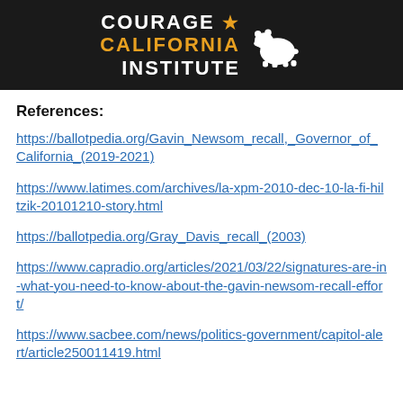[Figure (logo): Courage California Institute logo with white bear silhouette on black background]
References:
https://ballotpedia.org/Gavin_Newsom_recall,_Governor_of_California_(2019-2021)
https://www.latimes.com/archives/la-xpm-2010-dec-10-la-fi-hiltzik-20101210-story.html
https://ballotpedia.org/Gray_Davis_recall_(2003)
https://www.capradio.org/articles/2021/03/22/signatures-are-in-what-you-need-to-know-about-the-gavin-newsom-recall-effort/
https://www.sacbee.com/news/politics-government/capitol-alert/article250011419.html